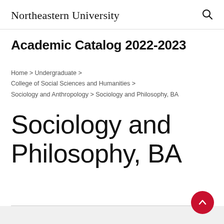Northeastern University
Academic Catalog 2022-2023
Home > Undergraduate > College of Social Sciences and Humanities > Sociology and Anthropology > Sociology and Philosophy, BA
Sociology and Philosophy, BA